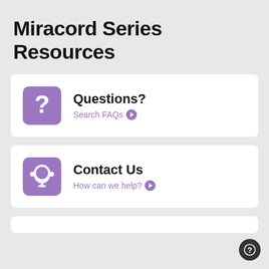Miracord Series Resources
Questions? Search FAQs
Contact Us How can we help?